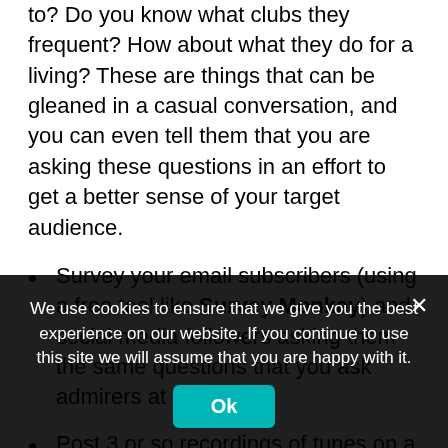to? Do you know what clubs they frequent? How about what they do for a living? These are things that can be gleaned in a casual conversation, and you can even tell them that you are asking these questions in an effort to get a better sense of your target audience.
Survey your email subscribers (using a free tool like Survey Monkey) and social media followers asking them the same questions that you ask admirers at your gig.
Post 3 or so recordings of tunes on a web page and ask people to pick their favorite.
Who knows, maybe you'll discover that your ideal fans like fine wine (wines for the club owner!), or cigars, and that they
We use cookies to ensure that we give you the best experience on our website. If you continue to use this site we will assume that you are happy with it.